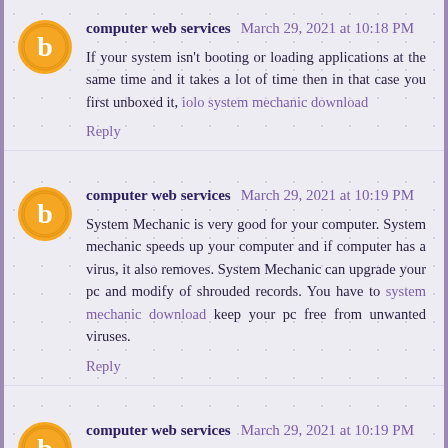computer web services  March 29, 2021 at 10:18 PM
If your system isn't booting or loading applications at the same time and it takes a lot of time then in that case you first unboxed it, iolo system mechanic download
Reply
computer web services  March 29, 2021 at 10:19 PM
System Mechanic is very good for your computer. System mechanic speeds up your computer and if computer has a virus, it also removes. System Mechanic can upgrade your pc and modify of shrouded records. You have to system mechanic download keep your pc free from unwanted viruses.
Reply
computer web services  March 29, 2021 at 10:19 PM
System Mechanic is very good for your computer. System mechanic speeds up your computer and if computer has a virus, it also removes. System Mechanic can upgrade your pc